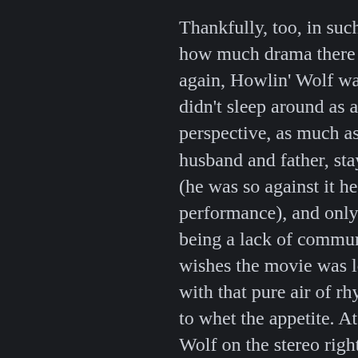Thankfully, too, in such a short r how much drama there usually is again, Howlin' Wolf wasn't as na didn't sleep around as a ladies's m perspective, as much as say Mudd husband and father, stayed away (he was so against it he openly cri performance), and only had his o being a lack of communication w wishes the movie was longer- mo with that pure air of rhythm and to whet the appetite. At the least Wolf on the stereo right away or r record. He wasn't maybe the #1 b but he certainly left his mark like is a good tribute to the Wolf's spir